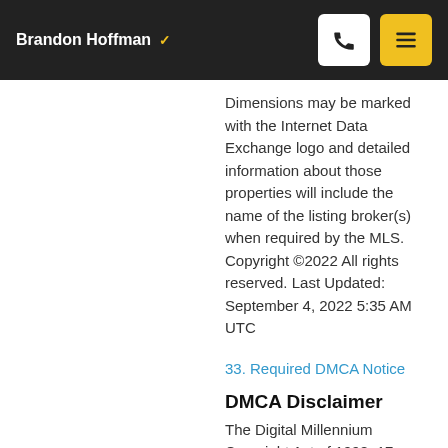Brandon Hoffman
Dimensions may be marked with the Internet Data Exchange logo and detailed information about those properties will include the name of the listing broker(s) when required by the MLS. Copyright ©2022 All rights reserved. Last Updated: September 4, 2022 5:35 AM UTC
33. Required DMCA Notice
DMCA Disclaimer
The Digital Millennium Copyright Act of 1998, 17 U.S.C. §512, the DMCA, provides recourse for copyright owners who believe their rights are being infringed.